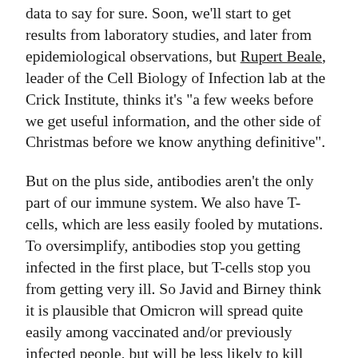data to say for sure. Soon, we'll start to get results from laboratory studies, and later from epidemiological observations, but Rupert Beale, leader of the Cell Biology of Infection lab at the Crick Institute, thinks it's "a few weeks before we get useful information, and the other side of Christmas before we know anything definitive".
But on the plus side, antibodies aren't the only part of our immune system. We also have T-cells, which are less easily fooled by mutations. To oversimplify, antibodies stop you getting infected in the first place, but T-cells stop you from getting very ill. So Javid and Birney think it is plausible that Omicron will spread quite easily among vaccinated and/or previously infected people, but will be less likely to kill them or make them severely ill.
There has also been speculation that Omicron is